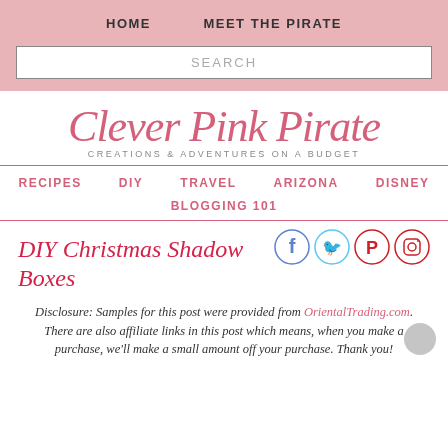HOME    MEET THE PIRATE
SEARCH
[Figure (logo): Clever Pink Pirate logo with script text and tagline 'Creations & Adventures on a Budget']
RECIPES    DIY    TRAVEL    ARIZONA    DISNEY    BLOGGING 101
DIY Christmas Shadow Boxes
[Figure (infographic): Social media icons: Facebook, Twitter, Pinterest, Instagram]
Disclosure: Samples for this post were provided from OrientalTrading.com. There are also affiliate links in this post which means, when you make a purchase, we'll make a small amount off your purchase. Thank you!